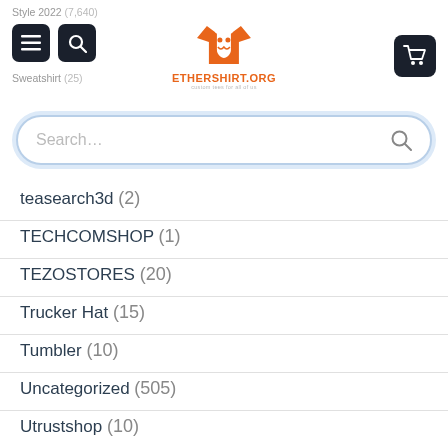Style 2022 (7,640) | Sweatshirt (25) | ethershirt.org
teasearch3d (2)
TECHCOMSHOP (1)
TEZOSTORES (20)
Trucker Hat (15)
Tumbler (10)
Uncategorized (505)
Utrustshop (10)
YARD SIGN (7)
ARCHIVES